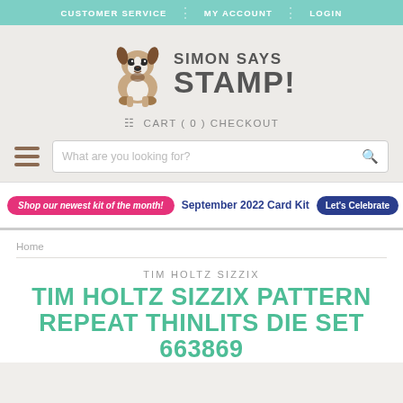CUSTOMER SERVICE | MY ACCOUNT | LOGIN
[Figure (logo): Simon Says Stamp logo with Boston Terrier dog illustration and text SIMON SAYS STAMP!]
CART ( 0 ) CHECKOUT
What are you looking for?
Shop our newest kit of the month! September 2022 Card Kit Let's Celebrate
Home
TIM HOLTZ SIZZIX
TIM HOLTZ SIZZIX PATTERN REPEAT THINLITS DIE SET 663869